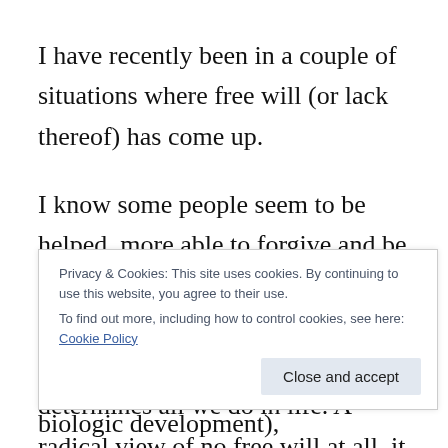I have recently been in a couple of situations where free will (or lack thereof) has come up.
I know some people seem to be helped, more able to forgive and be compassionate, to release praise and blame, by embracing the view that conditioning and contingency determines all we do in life. A radical view of no free will at all, it is a story we tell
Privacy & Cookies: This site uses cookies. By continuing to use this website, you agree to their use.
To find out more, including how to control cookies, see here: Cookie Policy
the environmental effects on biologic development),